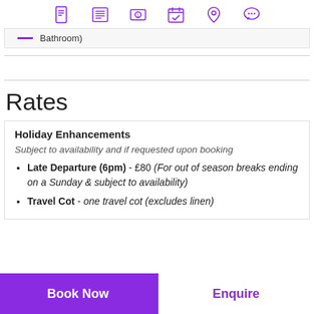[Navigation icons: document, list, currency, calendar, location, chat]
— Bathroom)
Rates
Holiday Enhancements
Subject to availability and if requested upon booking
Late Departure (6pm) - £80 (For out of season breaks ending on a Sunday & subject to availability)
Travel Cot - one travel cot (excludes linen)
Book Now | Enquire